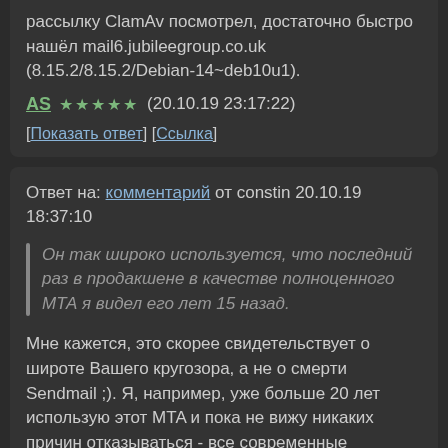рассылку ClamAv посмотрел, достаточно быстро нашёл mail6.jubileegroup.co.uk (8.15.2/8.15.2/Debian-14~deb10u1).
AS ★★★★★ (20.10.19 23:17:22)
[Показать ответ] [Ссылка]
Ответ на: комментарий от constin 20.10.19 18:37:10
Он так широко используется, что последний раз в продакшене в качестве полноценного MTA я видел его лет 15 назад.
Мне кажется, это скорее свидетельствует о широте Вашего кругозора, а не о смерти Sendmail ;). Я, например, уже больше 20 лет использую этот MTA и пока не вижу никаких причин отказываться - все современные стандарты, имеющие отношение к электронной почте, он